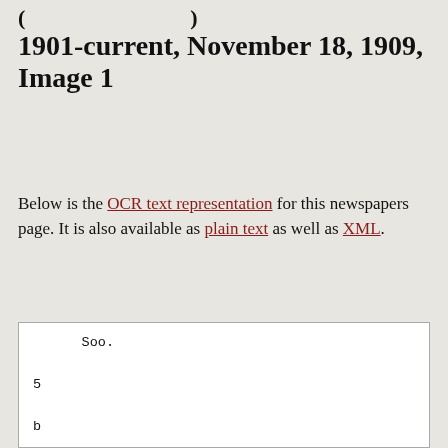1901-current, November 18, 1909, Image 1
Below is the OCR text representation for this newspapers page. It is also available as plain text as well as XML.
Soo.
5
b
omm
SEMI-WEEKLY EDITION EIGHT PAGES
VOLUME XXVI11
PLATTSMOUTD, NEBBASKA. THURSDAY KO MEMBER 18, 190i
NO 80
HIS FIST (EES IIS (III MID
RRfflSAPUlMtSSl'IDOl'l